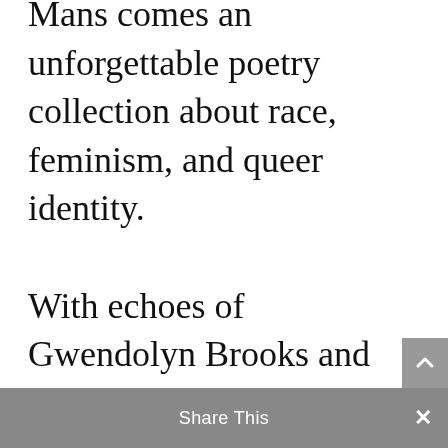Mans comes an unforgettable poetry collection about race, feminism, and queer identity.

With echoes of Gwendolyn Brooks and Sonia Sanchez, Mans writes to call herself–and us–home. Each poem explores what it means to be a daughter of Newark, and America–and the painful, joyous path to adulthood as a young, queer
Share This ×